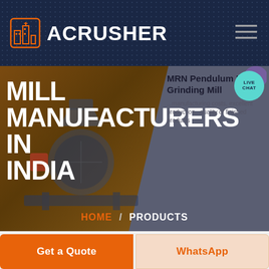[Figure (logo): ACrusher logo with orange building/factory icon and white bold ACRUSHER text on dark navy background with dotted pattern. Hamburger menu icon on right.]
MILL MANUFACTURERS IN INDIA
[Figure (photo): Industrial grinding mill machine (MRN Pendulum Roller Grinding Mill) on left, product card on right with text about low manufacturing costs, excellent production quality of finished products. Hero banner with brown/golden left section and gray right section.]
MRN Pendulum Roller Grinding Mill
...manufacturing costs, excellent production...quality of finished products
HOME  /  PRODUCTS
[Figure (other): Teal circular LIVE CHAT button with purple speech bubble icon, positioned top-right of hero section]
Get a Quote
WhatsApp